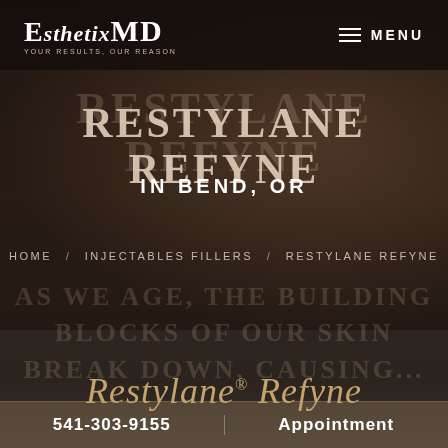[Figure (screenshot): EsthetixMD website hero section for Restylane Refyne in Bend, OR with dark background and decorative photo]
EsthetixMD YOUR RESULTS, OUR REASON
RESTYLANE REFYNE
IN BEND, OR
HOME / INJECTABLES FILLERS / RESTYLANE REFYNE
Restylane® Refyne
AS WE AGE, THE BUILDING BLOCKS OF OUR SKIN BREAK DOWN, CAUSING...
541-303-9155 | Appointment